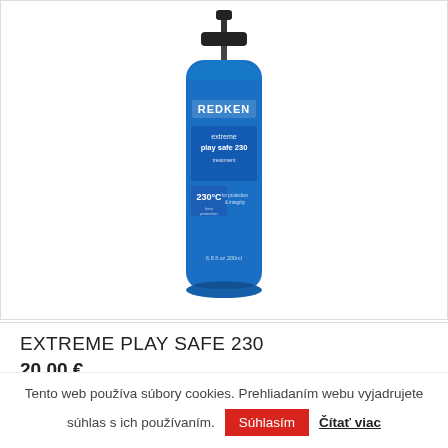[Figure (photo): A blue Redken Extreme Play Safe 230 hair product bottle with a black pump dispenser, showing product label with 230°C heat protection information.]
EXTREME PLAY SAFE 230
20,00 €
Tento web používa súbory cookies. Prehliadaním webu vyjadrujete súhlas s ich používaním. Súhlasím Čítať viac